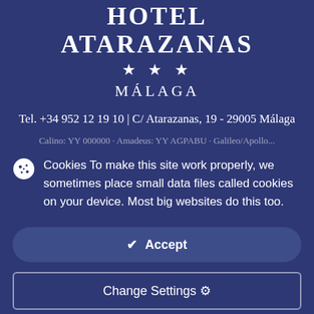HOTEL ATARAZANAS
★ ★ ★
MÁLAGA
Tel. +34 952 12 19 10 | C/ Atarazanas, 19 - 29005 Málaga
Calino: YY 000000 · Amadeus: YY AGPABU · Galileo/Apollo...
Cookies To make this site work properly, we sometimes place small data files called cookies on your device. Most big websites do this too.
✔ Accept
Change Settings ⚙